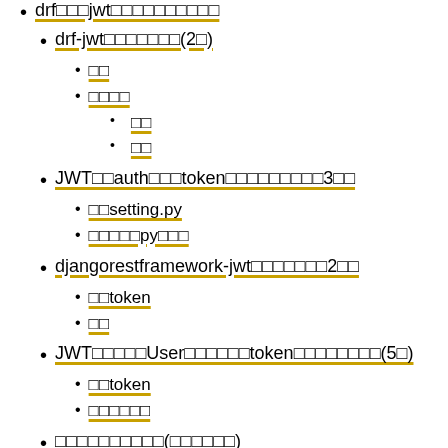drf□□□jwt□□□□□□□□□□
drf-jwt□□□□□□□(2□)
□□
□□□□
□□
□□
JWT□□auth□□□token□□□□□□□□□3□□
□□setting.py
□□□□□py□□□
djangorestframework-jwt□□□□□□□2□□
□□token
□□
JWT□□□□□User□□□□□□token□□□□□□□□(5□)
□□token
□□□□□□
□□□□□□□□□□(□□□□□□)